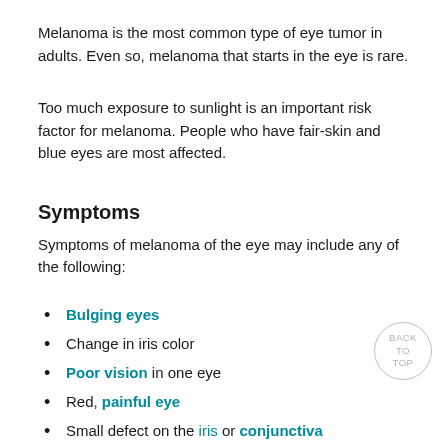Melanoma is the most common type of eye tumor in adults. Even so, melanoma that starts in the eye is rare.
Too much exposure to sunlight is an important risk factor for melanoma. People who have fair-skin and blue eyes are most affected.
Symptoms
Symptoms of melanoma of the eye may include any of the following:
Bulging eyes
Change in iris color
Poor vision in one eye
Red, painful eye
Small defect on the iris or conjunctiva